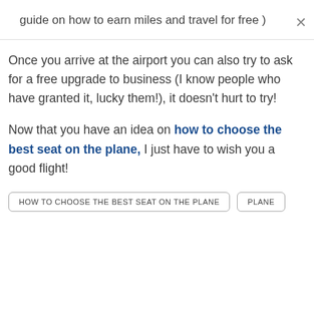guide on how to earn miles and travel for free )
Once you arrive at the airport you can also try to ask for a free upgrade to business (I know people who have granted it, lucky them!), it doesn't hurt to try!
Now that you have an idea on how to choose the best seat on the plane, I just have to wish you a good flight!
HOW TO CHOOSE THE BEST SEAT ON THE PLANE
PLANE